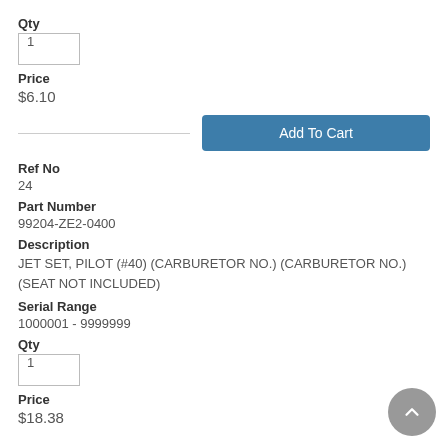Qty
1
Price
$6.10
Add To Cart
Ref No
24
Part Number
99204-ZE2-0400
Description
JET SET, PILOT (#40) (CARBURETOR NO.) (CARBURETOR NO.) (SEAT NOT INCLUDED)
Serial Range
1000001 - 9999999
Qty
1
Price
$18.38